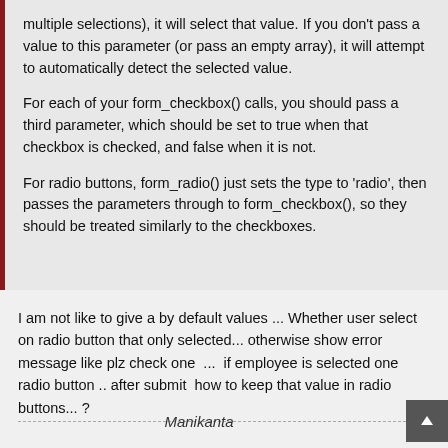multiple selections), it will select that value. If you don't pass a value to this parameter (or pass an empty array), it will attempt to automatically detect the selected value.
For each of your form_checkbox() calls, you should pass a third parameter, which should be set to true when that checkbox is checked, and false when it is not.
For radio buttons, form_radio() just sets the type to 'radio', then passes the parameters through to form_checkbox(), so they should be treated similarly to the checkboxes.
I am not like to give a by default values ... Whether user select on radio button that only selected... otherwise show error message like plz check one  ...  if employee is selected one radio button .. after submit  how to keep that value in radio buttons... ?
Manikanta